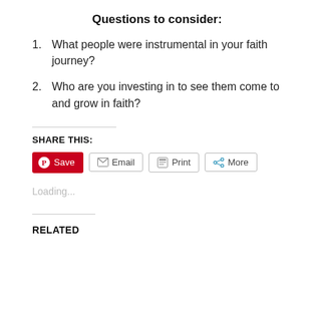Questions to consider:
What people were instrumental in your faith journey?
Who are you investing in to see them come to and grow in faith?
SHARE THIS:
[Figure (screenshot): Row of sharing buttons: Save (Pinterest, red), Email, Print, More]
Loading...
RELATED